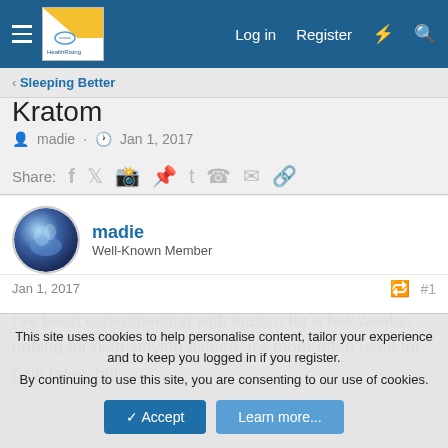HealthRising | Log in | Register
< Sleeping Better
Kratom
madie · Jan 1, 2017
Share: [social icons]
madie
Well-Known Member
Jan 1, 2017  #1
I've been experimenting with kratom for a few weeks, hoping for help staying asleep. It's more often used for pain relief, but
This site uses cookies to help personalise content, tailor your experience and to keep you logged in if you register.
By continuing to use this site, you are consenting to our use of cookies.
[Accept] [Learn more...]